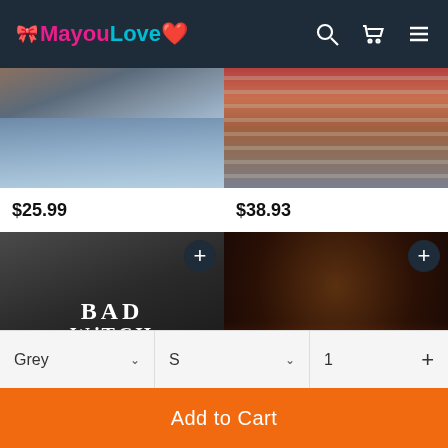MayouLove
[Figure (photo): Partial view of person wearing grey t-shirt and distressed jeans]
[Figure (photo): Partial view of person wearing plaid shirt and jeans]
$25.99
$38.93
[Figure (photo): Black hoodie with BAD WITCH text graphic]
[Figure (photo): Sanderson Sisters Halloween graphic shirt with fire design]
Grey
S
1
Add to Cart